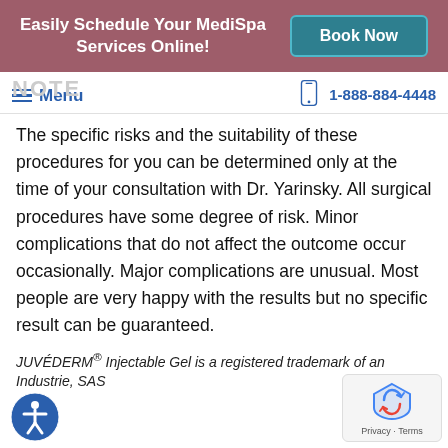Easily Schedule Your MediSpa Services Online! | Book Now
Menu | 1-888-884-4448
The specific risks and the suitability of these procedures for you can be determined only at the time of your consultation with Dr. Yarinsky. All surgical procedures have some degree of risk. Minor complications that do not affect the outcome occur occasionally. Major complications are unusual. Most people are very happy with the results but no specific result can be guaranteed.
JUVÉDERM® Injectable Gel is a registered trademark of an Industrie, SAS